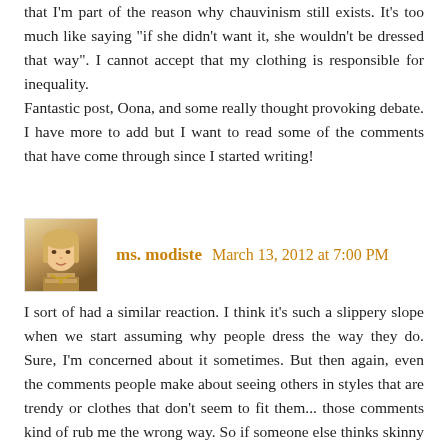that I'm part of the reason why chauvinism still exists. It's too much like saying "if she didn't want it, she wouldn't be dressed that way". I cannot accept that my clothing is responsible for inequality.
Fantastic post, Oona, and some really thought provoking debate. I have more to add but I want to read some of the comments that have come through since I started writing!
ms. modiste  March 13, 2012 at 7:00 PM
[Figure (photo): Avatar photo of commenter ms. modiste — a woman with blonde hair]
I sort of had a similar reaction. I think it's such a slippery slope when we start assuming why people dress the way they do. Sure, I'm concerned about it sometimes. But then again, even the comments people make about seeing others in styles that are trendy or clothes that don't seem to fit them... those comments kind of rub me the wrong way. So if someone else thinks skinny jeans are universally unflattering, or unflattering on MY figure, the fact that I'm wearing them means people can assume I'm just a sheep to the trends? It couldn't just be that I disagree? That I like